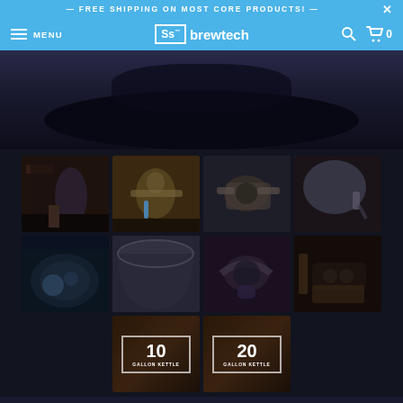— FREE SHIPPING ON MOST CORE PRODUCTS! —
[Figure (screenshot): Ss Brewtech website navigation bar with hamburger menu, MENU text, Ss Brewtech logo, search icon, and cart icon showing 0 items]
[Figure (photo): Dark hero banner area showing brewing equipment in dim purple/blue lighting]
[Figure (photo): Grid of product thumbnail images showing brewing kettle equipment details: full kettle view, valve close-ups, pump assembly, interior bottom, empty kettle interior, hose connection, power cord, plus two size badge images showing 10 Gallon Kettle and 20 Gallon Kettle]